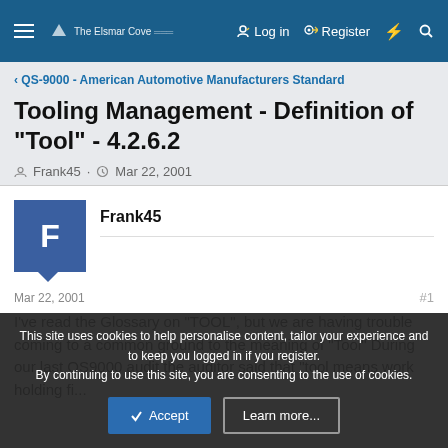The Elsmar Cove — Log in | Register
< QS-9000 - American Automotive Manufacturers Standard
Tooling Management - Definition of "Tool" - 4.2.6.2
Frank45 · Mar 22, 2001
Frank45
Mar 22, 2001  #1
I've read the Glossary on "TOOL", but we are having trouble coming to a common ground to the meaning of "Tool" During our last QS9000 audit the auditor said that "tool means work holding fi...
This site uses cookies to help personalise content, tailor your experience and to keep you logged in if you register.
By continuing to use this site, you are consenting to the use of cookies.
Accept   Learn more...